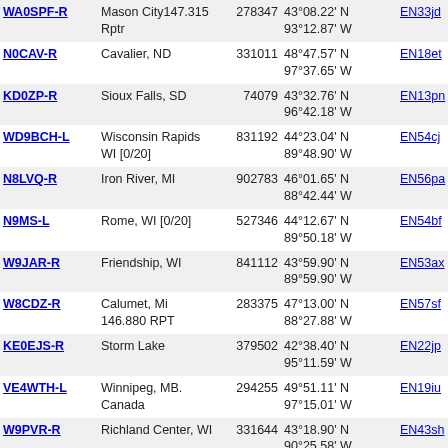| Callsign | Location | Node | Coordinates | Grid | Dist | Freq |
| --- | --- | --- | --- | --- | --- | --- |
| WA0SPF-R | Mason City147.315 Rptr | 278347 | 43°08.22' N 93°12.87' W | EN33jd | 234.0 | 147.31 |
| N0CAV-R | Cavalier, ND | 331011 | 48°47.57' N 97°37.65' W | EN18et | 234.2 | 147.15 |
| KD0ZP-R | Sioux Falls, SD | 74079 | 43°32.76' N 96°42.18' W | EN13pn | 243.2 | 444.90 |
| WD9BCH-L | Wisconsin Rapids WI [0/20] | 831192 | 44°23.04' N 89°48.90' W | EN54cj | 247.8 |  |
| N8LVQ-R | Iron River, MI | 902783 | 46°01.65' N 88°42.44' W | EN56pa | 253.0 | 145.17 |
| N9MS-L | Rome, WI [0/20] | 527346 | 44°12.67' N 89°50.18' W | EN54bf | 254.4 | 146.79 |
| W9JAR-R | Friendship, WI | 841112 | 43°59.90' N 89°59.90' W | EN53ax | 258.1 | 147.03 |
| W8CDZ-R | Calumet, Mi 146.880 RPT | 283375 | 47°13.00' N 88°27.88' W | EN57sf | 264.8 | 146.88 |
| KE0EJS-R | Storm Lake | 379502 | 42°38.40' N 95°11.59' W | EN22jp | 272.4 |  |
| VE4WTH-L | Winnipeg, MB. Canada | 294255 | 49°51.11' N 97°15.01' W | EN19iu | 278.3 | 146.72 |
| W9PVR-R | Richland Center, WI | 331644 | 43°18.90' N 90°25.58' W | EN43sh | 279.0 | 146.91 |
| KD8JAM-R | Calumet, MI | 405654 | 47°22.24' N 88°10.24' W | EN57vi | 280.2 | 147.31 |
| KA9TQC-L | WI [0/20] | 633855 | 44°37.24' N 88°45.72' W | EN54oo | 282.5 |  |